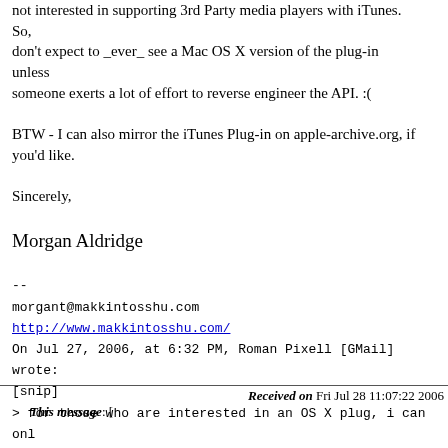not interested in supporting 3rd Party media players with iTunes. So,
don't expect to _ever_ see a Mac OS X version of the plug-in unless
someone exerts a lot of effort to reverse engineer the API. :(

BTW - I can also mirror the iTunes Plug-in on apple-archive.org, if you'd like.

Sincerely,

Morgan Aldridge

--
morgant@makkintosshu.com
http://www.makkintosshu.com/
On Jul 27, 2006, at 6:32 PM, Roman Pixell [GMail] wrote:
[snip]
> for those who are interested in an OS X plug, i can onl
> coming any time soon. eric schneck is the developer of
> he is not planning a port due to time limitations.
[snip]
--
This is the NewtonTalk list - http://www.newtontalk.net/
Official Newton FAQ: http://www.chuma.org/newton/faq/
WikiWikiNewt for all kinds of articles: http://tools.unna
Received on Fri Jul 28 11:07:22 2006
This message: [